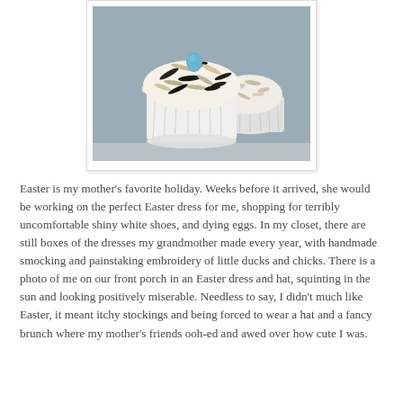[Figure (photo): Photo of two cupcakes topped with shredded coconut and a small blue candy egg, in white fluted paper liners, on a white surface. The image is framed with a white border and light shadow.]
Easter is my mother's favorite holiday. Weeks before it arrived, she would be working on the perfect Easter dress for me, shopping for terribly uncomfortable shiny white shoes, and dying eggs. In my closet, there are still boxes of the dresses my grandmother made every year, with handmade smocking and painstaking embroidery of little ducks and chicks. There is a photo of me on our front porch in an Easter dress and hat, squinting in the sun and looking positively miserable. Needless to say, I didn't much like Easter, it meant itchy stockings and being forced to wear a hat and a fancy brunch where my mother's friends ooh-ed and awed over how cute I was.